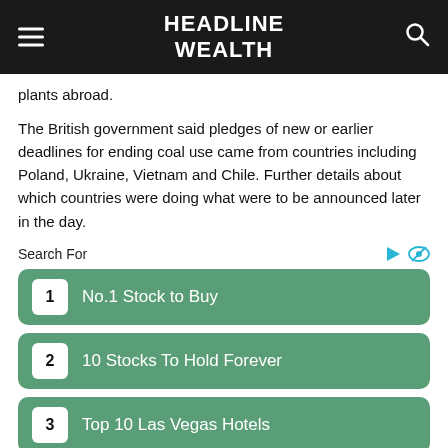HEADLINE WEALTH
plants abroad.
The British government said pledges of new or earlier deadlines for ending coal use came from countries including Poland, Ukraine, Vietnam and Chile. Further details about which countries were doing what were to be announced later in the day.
Search For
1 No.1 Stock to Buy
2 10 Stocks To Hold Forever
3 Top 10 Las Vegas Hotels